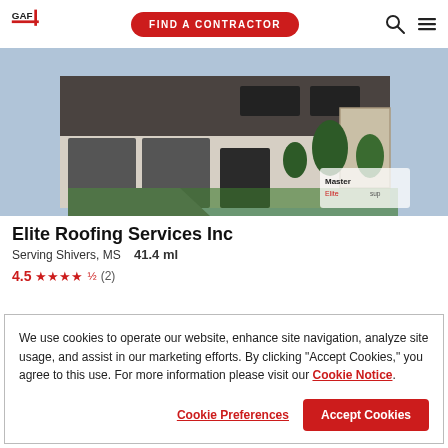GAF logo | FIND A CONTRACTOR | search icon | menu icon
[Figure (photo): Exterior photo of a two-story residential home with dark roof shingles, three-car garage, stone facade, and landscaped front yard. GAF Master Elite and Elite contractor badges visible in bottom-right corner.]
Elite Roofing Services Inc
Serving Shivers, MS   41.4 ml
4.5 ★★★★½ (2)
We use cookies to operate our website, enhance site navigation, analyze site usage, and assist in our marketing efforts. By clicking "Accept Cookies," you agree to this use. For more information please visit our Cookie Notice.
Cookie Preferences | Accept Cookies